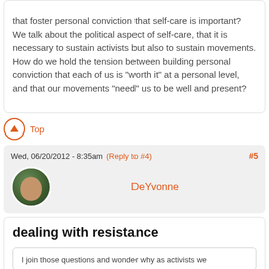that foster personal conviction that self-care is important? We talk about the political aspect of self-care, that it is necessary to sustain activists but also to sustain movements. How do we hold the tension between building personal conviction that each of us is "worth it" at a personal level, and that our movements "need" us to be well and present?
Top
Wed, 06/20/2012 - 8:35am (Reply to #4) #5
DeYvonne
dealing with resistance
I join those questions and wonder why as activists we